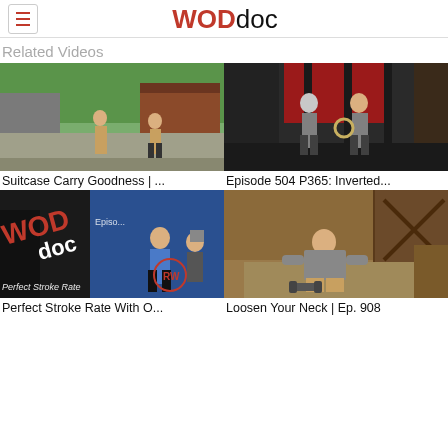WODdoc
Related Videos
[Figure (screenshot): Outdoor video thumbnail showing two people exercising outside a barn/house with green trees]
Suitcase Carry Goodness | ...
[Figure (screenshot): Indoor gym video thumbnail showing two men with gymnastic rings in a CrossFit gym with red walls]
Episode 504 P365: Inverted...
[Figure (screenshot): WODdoc branded video thumbnail with a woman in a blue tank top and man in a beanie hat, showing text 'Perfect Stroke Rate']
Perfect Stroke Rate With O...
[Figure (screenshot): Indoor video thumbnail showing a man sitting on the floor from behind in a wooden room, doing neck mobility work]
Loosen Your Neck | Ep. 908